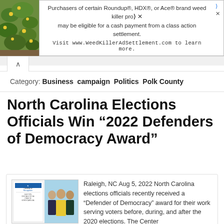[Figure (other): Advertisement banner: image of yellow flowers on left, text about Roundup/HDX/Ace weed killer class action settlement on right]
Category: Business  campaign  Politics  Polk County
North Carolina Elections Officials Win “2022 Defenders of Democracy Award”
[Figure (photo): Thumbnail image showing a certificate/award document on left and three people posing for photo on right]
Raleigh, NC Aug 5, 2022 North Carolina elections officials recently received a “Defender of Democracy” award for their work serving voters before, during, and after the 2020 elections. The Center for Election Innovations & Research (CEIR), a nonprofit organization working to build… Read More »